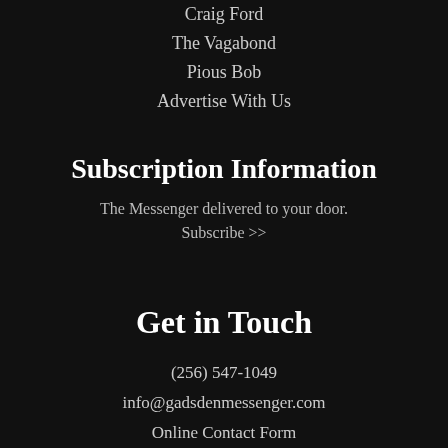Craig Ford
The Vagabond
Pious Bob
Advertise With Us
Subscription Information
The Messenger delivered to your door. Subscribe >>
Get in Touch
(256) 547-1049
info@gadsdenmessenger.com
Online Contact Form